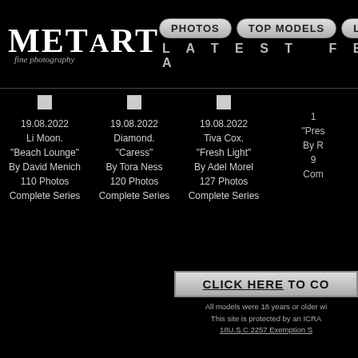METART fine photography | PHOTOS | TOP MODELS | LIVE | LATEST FEA...
19.08.2022
Li Moon.
"Beach Lounge"
By David Menich
110 Photos
Complete Series
19.08.2022
Diamond.
"Caress"
By Tora Ness
120 Photos
Complete Series
19.08.2022
Tiva Cox.
"Fresh Light"
By Adel Morel
127 Photos
Complete Series
19.08.2022
"Pres...
By R...
Com...
CLICK HERE TO CO...
All models were 18 years or older wi...
This site is protected by an ICRA ...
18U.S.C.2257 Exemption S...